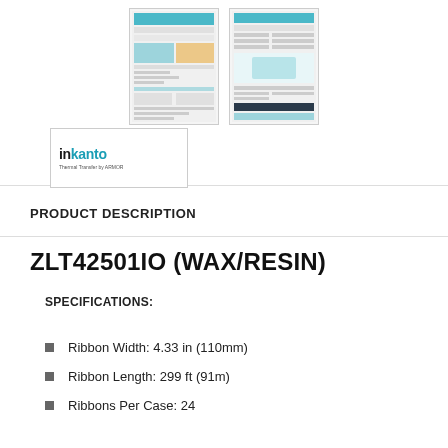[Figure (screenshot): Two thumbnail images of product documents/spec sheets shown in gallery view]
[Figure (logo): Inkanto logo - Thermal Transfer by ARMOR brand logo]
PRODUCT DESCRIPTION
ZLT42501IO (WAX/RESIN)
SPECIFICATIONS:
Ribbon Width: 4.33 in (110mm)
Ribbon Length: 299 ft (91m)
Ribbons Per Case: 24